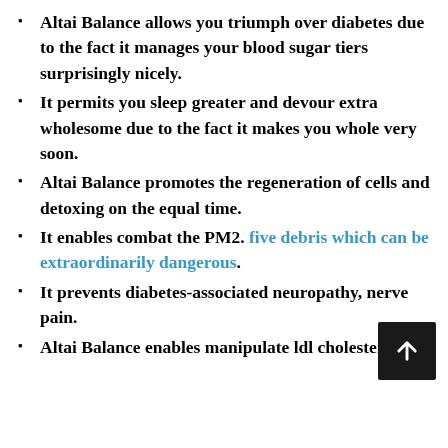Altai Balance allows you triumph over diabetes due to the fact it manages your blood sugar tiers surprisingly nicely.
It permits you sleep greater and devour extra wholesome due to the fact it makes you whole very soon.
Altai Balance promotes the regeneration of cells and detoxing on the equal time.
It enables combat the PM2. five debris which can be extraordinarily dangerous.
It prevents diabetes-associated neuropathy, nerve pain.
Altai Balance enables manipulate ldl cholesterol